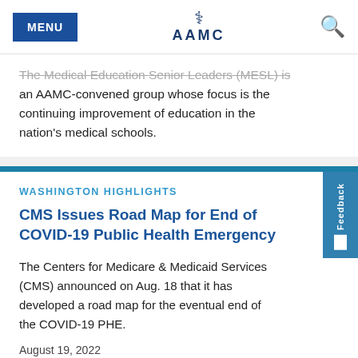MENU | AAMC | Search
The Medical Education Senior Leaders (MESL) is an AAMC-convened group whose focus is the continuing improvement of education in the nation's medical schools.
WASHINGTON HIGHLIGHTS
CMS Issues Road Map for End of COVID-19 Public Health Emergency
The Centers for Medicare & Medicaid Services (CMS) announced on Aug. 18 that it has developed a road map for the eventual end of the COVID-19 PHE.
August 19, 2022